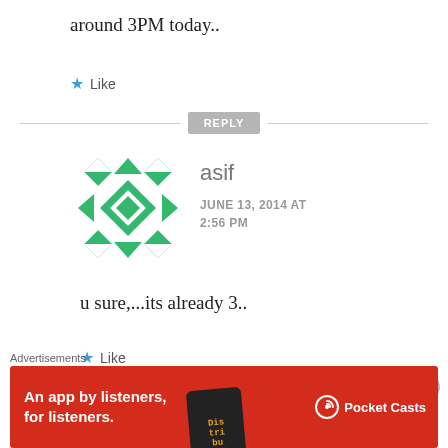around 3PM today..
Like
REPLY
[Figure (illustration): Green geometric quilt-pattern avatar icon for user asif]
asif
JUNE 13, 2014 AT 2:56 PM
u sure,...its already 3..
Like
Advertisements
[Figure (screenshot): Pocket Casts advertisement banner: An app by listeners, for listeners.]